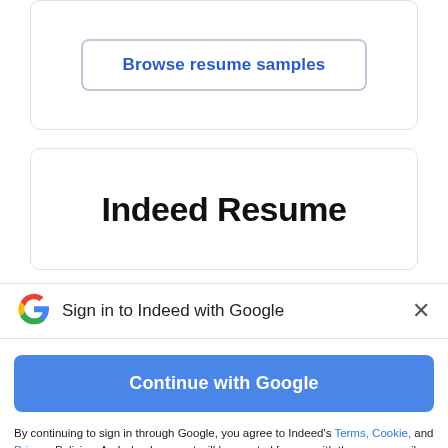Browse resume samples
Indeed Resume
Sign in to Indeed with Google
Continue with Google
By continuing to sign in through Google, you agree to Indeed's Terms, Cookie, and Privacy Policies. An Indeed account will be created for you with the same email address used for your Google account, if you don't already have an Indeed account associated with that email. Indeed will send you marketing emails unless you object to these and you can unsubscribe at any time.